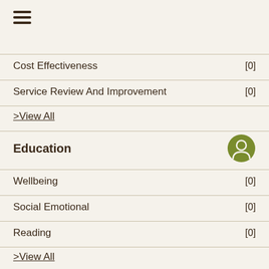Cost Effectiveness [0]
Service Review And Improvement [0]
>View All
Education
Wellbeing [0]
Social Emotional [0]
Reading [0]
>View All